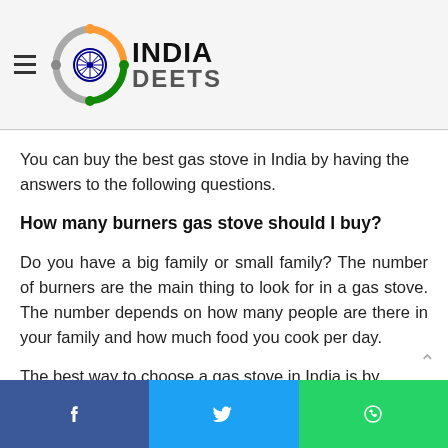[Figure (logo): India Deets logo with Ashoka Chakra style emblem and colored text]
You can buy the best gas stove in India by having the answers to the following questions.
How many burners gas stove should I buy?
Do you have a big family or small family? The number of burners are the main thing to look for in a gas stove. The number depends on how many people are there in your family and how much food you cook per day.
The best way to choose a gas stove in India is by considering how many burners you require: